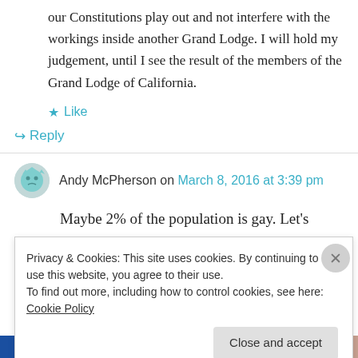our Constitutions play out and not interfere with the workings inside another Grand Lodge. I will hold my judgement, until I see the result of the members of the Grand Lodge of California.
Like
Reply
Andy McPherson on March 8, 2016 at 3:39 pm
Maybe 2% of the population is gay. Let's
Privacy & Cookies: This site uses cookies. By continuing to use this website, you agree to their use.
To find out more, including how to control cookies, see here: Cookie Policy
Close and accept